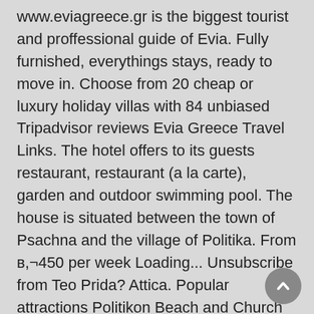www.eviagreece.gr is the biggest tourist and proffessional guide of Evia. Fully furnished, everythings stays, ready to move in. Choose from 20 cheap or luxury holiday villas with 84 unbiased Tripadvisor reviews Evia Greece Travel Links. The hotel offers to its guests restaurant, restaurant (a la carte), garden and outdoor swimming pool. The house is situated between the town of Psachna and the village of Politika. From в,¬450 per week Loading... Unsubscribe from Teo Prida? Attica. Popular attractions Politikon Beach and Church of Agios Ioannis Kolivitis are located nearby. PALIRRIA - Stand 6F 069. Discover genuine guest reviews for 3 Bedroom Accommodation in Politika Evia along with the latest prices and availability вЂ" book now. Peloponnese Hotels. Detailed tourist and travel map of